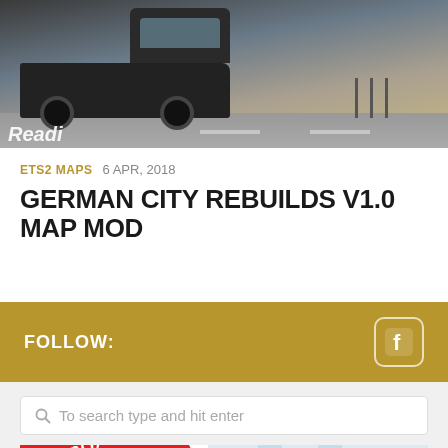[Figure (photo): Top portion of a webpage showing a dark truck on a road, partial screenshot of a gaming/mod website]
ETS2 MAPS  6 APR, 2018
GERMAN CITY REBUILDS V1.0 MAP MOD
FOLLOW:
To search type and hit enter
[Figure (photo): Advertisement banner showing 'CELLBOX 2.0' text on red diagonal ribbon with 'THE SAFEST' text below]